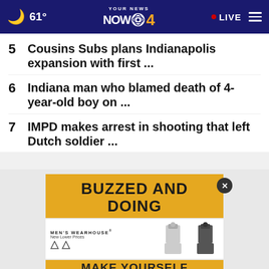61° YOUR NEWS NOW CBS 4 · LIVE
5 Cousins Subs plans Indianapolis expansion with first ...
6 Indiana man who blamed death of 4-year-old boy on ...
7 IMPD makes arrest in shooting that left Dutch soldier ...
[Figure (screenshot): Advertisement banner showing 'BUZZED AND DOING' in bold text on yellow/gold background with a close button, above a Men's Wearhouse ad with suited figures, and 'MAKE YOURSELF' text at bottom.]